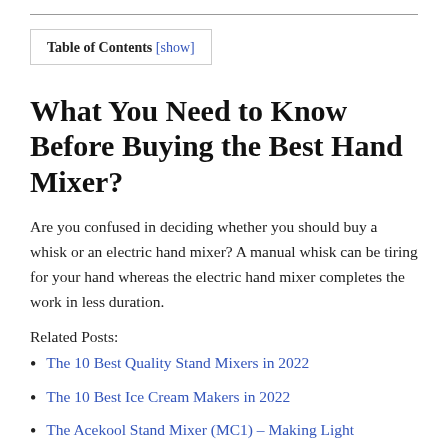Table of Contents [show]
What You Need to Know Before Buying the Best Hand Mixer?
Are you confused in deciding whether you should buy a whisk or an electric hand mixer? A manual whisk can be tiring for your hand whereas the electric hand mixer completes the work in less duration.
Related Posts:
The 10 Best Quality Stand Mixers in 2022
The 10 Best Ice Cream Makers in 2022
The Acekool Stand Mixer (MC1) – Making Light